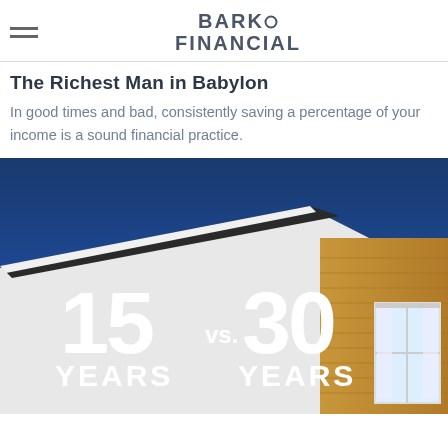BARKO FINANCIAL
The Richest Man in Babylon
In good times and bad, consistently saving a percentage of your income is a sound financial practice.
[Figure (photo): Photo of a house exterior with blue sky background, overlaid with large white text reading '15 vs. 30 YEARS YEARS' referencing 15-year vs 30-year mortgage comparison.]